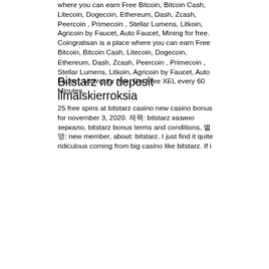where you can earn Free Bitcoin, Bitcoin Cash, Litecoin, Dogecoin, Ethereum, Dash, Zcash, Peercoin , Primecoin , Stellar Lumens, Litkoin, Agricoin by Faucet, Auto Faucet, Mining for free. Coingratisan is a place where you can earn Free Bitcoin, Bitcoin Cash, Litecoin, Dogecoin, Ethereum, Dash, Zcash, Peercoin , Primecoin , Stellar Lumens, Litkoin, Agricoin by Faucet, Auto Faucet, Mining for free. Get Free XEL every 60 Minutes.
Bitstarz no deposit ilmaiskierroksia
25 free spins at bitstarz casino new casino bonus for november 3, 2020. 제목: bitstarz казино зеркало, bitstarz bonus terms and conditions, 별명: new member, about: bitstarz. I just find it quite ridiculous coming from big casino like bitstarz. If i